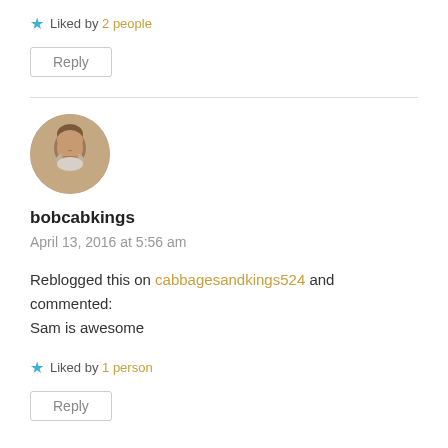★ Liked by 2 people
Reply
[Figure (photo): Circular avatar photo of user bobcabkings, showing an older man with a beard]
bobcabkings
April 13, 2016 at 5:56 am
Reblogged this on cabbagesandkings524 and commented:
Sam is awesome
★ Liked by 1 person
Reply